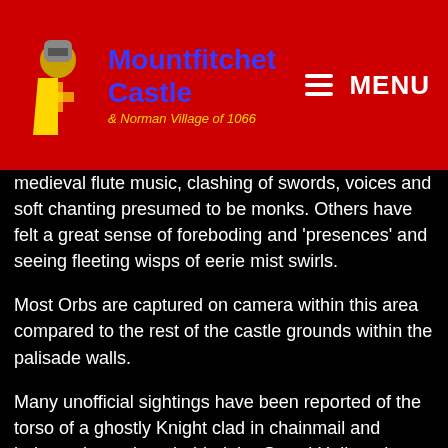Mountfitchet Castle & Norman Village of 1066
medieval flute music, clashing of swords, voices and soft chanting presumed to be monks. Others have felt a great sense of foreboding and 'presences' and seeing fleeting wisps of eerie mist swirls.
Most Orbs are captured on camera within this area compared to the rest of the castle grounds within the palisade walls.
Many unofficial sightings have been reported of the torso of a ghostly Knight clad in chainmail and helmet always in or behind the Grand Hall, and always in the afternoon. Staff members and visitors have both seen this apparition but have never felt uncomfortable during their experience with him.